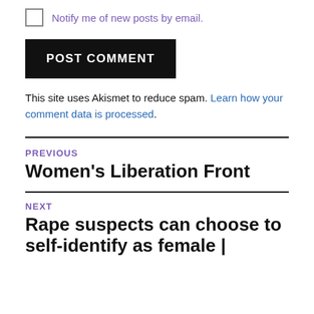Notify me of new posts by email.
POST COMMENT
This site uses Akismet to reduce spam. Learn how your comment data is processed.
PREVIOUS
Women's Liberation Front
NEXT
Rape suspects can choose to self-identify as female |